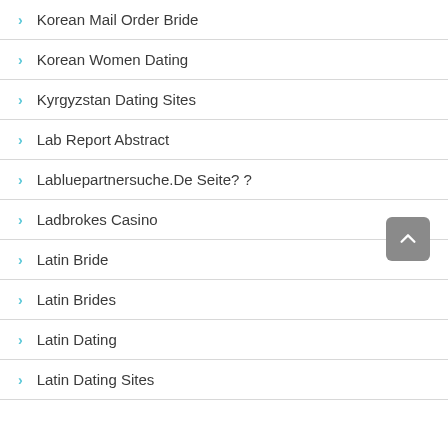Korean Mail Order Bride
Korean Women Dating
Kyrgyzstan Dating Sites
Lab Report Abstract
Labluepartnersuche.De Seite? ?
Ladbrokes Casino
Latin Bride
Latin Brides
Latin Dating
Latin Dating Sites